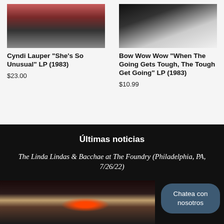[Figure (photo): Album cover photo for Cyndi Lauper She's So Unusual LP, showing a dynamic street scene with colorful 80s imagery]
[Figure (photo): Album cover photo for Bow Wow Wow When The Going Gets Tough LP showing two people]
Cyndi Lauper "She's So Unusual" LP (1983)
$23.00
Bow Wow Wow "When The Going Gets Tough, The Tough Get Going" LP (1983)
$10.99
Últimas noticias
The Linda Lindas & Bacchae at The Foundry (Philadelphia, PA, 7/26/22)
[Figure (photo): Concert/venue photo showing a stage setup with dramatic curtains and lighting]
Chatea con nosotros